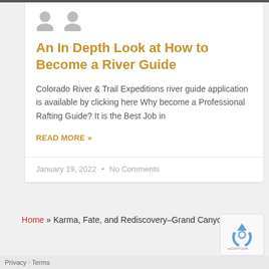[Figure (illustration): Two gray placeholder avatar icons side by side at the top of the article card]
An In Depth Look at How to Become a River Guide
Colorado River & Trail Expeditions river guide application is available by clicking here Why become a Professional Rafting Guide? It is the Best Job in
READ MORE »
January 19, 2022  •  No Comments
Home » Karma, Fate, and Rediscovery–Grand Canyon Style
[Figure (logo): reCAPTCHA logo badge in bottom right corner]
Privacy · Terms